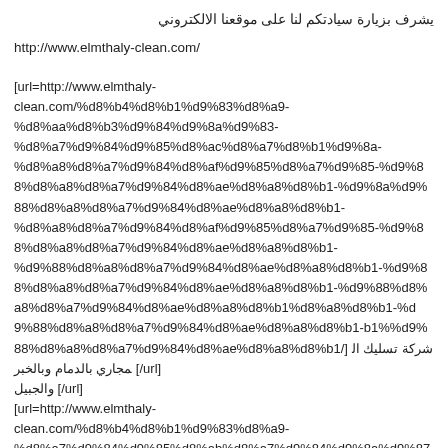يشرف بزيارة سيادتكم لنا على موقعنا الالكتروني
http://www.elmthaly-clean.com/
[url=http://www.elmthaly-clean.com/%d8%b4%d8%b1%d9%83%d8%a9-%d8%aa%d8%b3%d9%84%d9%8a%d9%83-%d8%a7%d9%84%d9%85%d8%ac%d8%a7%d8%b1%d9%8a-%d8%a8%d8%a7%d9%84%d8%af%d9%85%d8%a7%d9%85-%d9%88%d8%a8%d8%a7%d9%84%d8%ae%d8%a8%d8%b1-%d9%88%d8%a8%d8%a7%d9%84%d8%ae%d8%a8%d8%b1/%d8%b1-%d9%88%d8%a8%d8%a7%d9%84%d8%ae%d8%a8%d8%b1/] شركة تسليك المجاري بالدمام وبالخبر والجبيل [/url]
[url=http://www.elmthaly-clean.com/%d8%b4%d8%b1%d9%83%d8%a9-%d8%a7%d9%84%d9%85%d8%ab%d8%a7%d9%84%d9%8a%d9%87-%d9%84%d9%84%d8%aa%d9%86%d8%b8%d9%8a%d9%81-%d9%84%d9%84%d8%aa%d9%86%d8%b8%d9%8a%d9%81-%d9%81%d9%86%d9%8a/%81/] شركة المثاليه للتنظيف - المثالى تيوب [/url]
[url=http://www.elmthaly-clean.com/%d8%a7%d9%84%d9%85%d8%ab%d8%a7%d9%84%d9%8a%d9%87-%d9%81%d9%8a-%d8%a7%d9%84%d8%aa%d9%86%d8%b8%d9%8a%d9%81/%d8%a7%d9%84%d9%85%d8%ab%d8%a7%d9%84%d9%8a%d9%87-%d9%81%d9%8a-%d8%a7%d9%84%d8%aa%d9%86%d8%b8%d9%8a%d9%81/